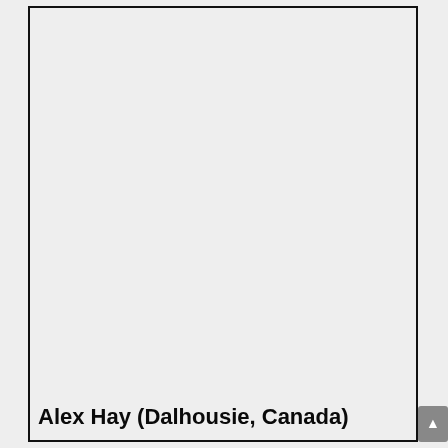[Figure (photo): A mostly blank/light gray framed page area, likely a photo or image placeholder, with a scroll button on the bottom right.]
Alex Hay (Dalhousie, Canada)